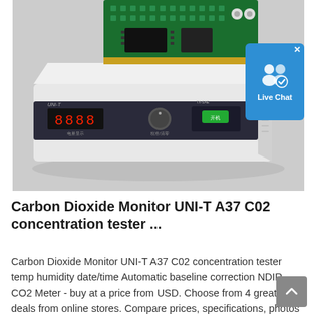[Figure (photo): Photo of a white desktop CO2 monitor device (UNI-T A37) with a green circuit board on top, a red LED display, a rotary knob, and a green button on the front panel. Background is light grey. A blue 'Live Chat' button appears in the upper right corner overlay.]
Carbon Dioxide Monitor UNI-T A37 C02 concentration tester ...
Carbon Dioxide Monitor UNI-T A37 C02 concentration tester temp humidity date/time Automatic baseline correction NDIR CO2 Meter - buy at a price from USD. Choose from 4 great deals from online stores. Compare prices, specifications, photos and reviews from buyers.